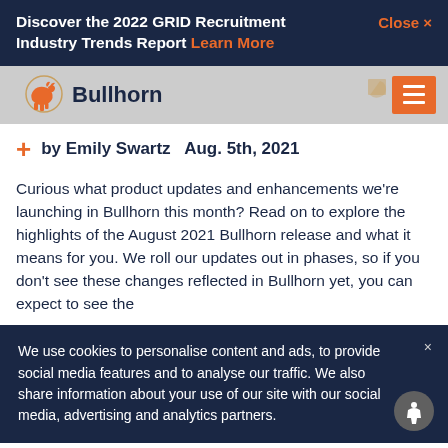Discover the 2022 GRID Recruitment Industry Trends Report Learn More  Close ×
[Figure (logo): Bullhorn logo with bull icon and navigation menu button]
by Emily Swartz  Aug. 5th, 2021
Curious what product updates and enhancements we're launching in Bullhorn this month? Read on to explore the highlights of the August 2021 Bullhorn release and what it means for you. We roll our updates out in phases, so if you don't see these changes reflected in Bullhorn yet, you can expect to see the
We use cookies to personalise content and ads, to provide social media features and to analyse our traffic. We also share information about your use of our site with our social media, advertising and analytics partners.